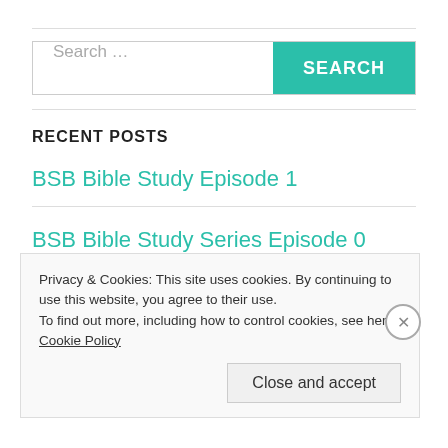[Figure (other): Search bar with text input placeholder 'Search ...' and a teal 'SEARCH' button]
RECENT POSTS
BSB Bible Study Episode 1
BSB Bible Study Series Episode 0
Privacy & Cookies: This site uses cookies. By continuing to use this website, you agree to their use.
To find out more, including how to control cookies, see here: Cookie Policy